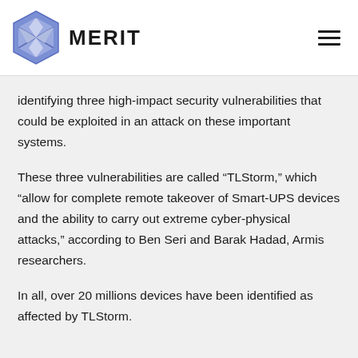[Figure (logo): MERIT logo with a blue hexagonal diamond shape on the left and the word MERIT in bold black capital letters]
identifying three high-impact security vulnerabilities that could be exploited in an attack on these important systems.
These three vulnerabilities are called “TLStorm,” which “allow for complete remote takeover of Smart-UPS devices and the ability to carry out extreme cyber-physical attacks,” according to Ben Seri and Barak Hadad, Armis researchers.
In all, over 20 millions devices have been identified as affected by TLStorm.